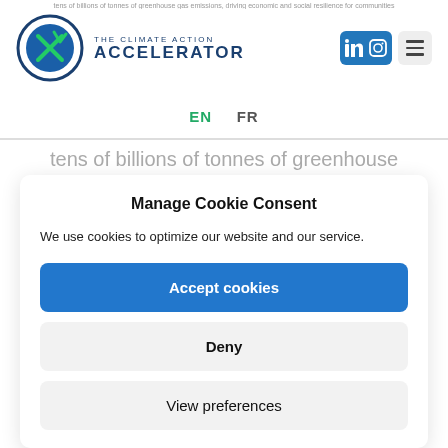tens of billions of tonnes of greenhouse
[Figure (logo): The Climate Action Accelerator logo with circular emblem and brand name]
EN   FR
tens of billions of tonnes of greenhouse
Manage Cookie Consent
We use cookies to optimize our website and our service.
Accept cookies
Deny
View preferences